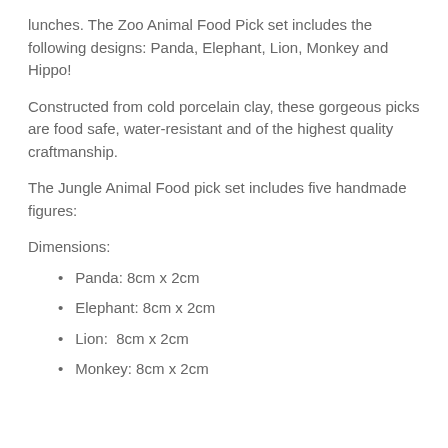lunches. The Zoo Animal Food Pick set includes the following designs: Panda, Elephant, Lion, Monkey and Hippo!
Constructed from cold porcelain clay, these gorgeous picks are food safe, water-resistant and of the highest quality craftmanship.
The Jungle Animal Food pick set includes five handmade figures:
Dimensions:
Panda: 8cm x 2cm
Elephant: 8cm x 2cm
Lion:  8cm x 2cm
Monkey: 8cm x 2cm